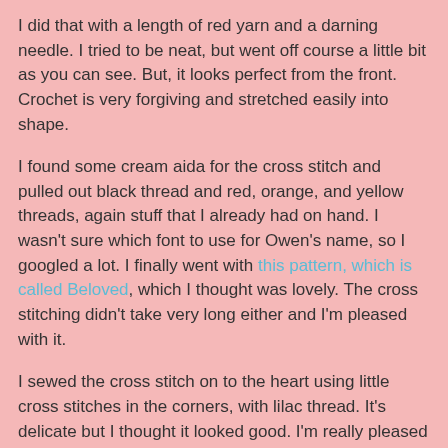I did that with a length of red yarn and a darning needle. I tried to be neat, but went off course a little bit as you can see. But, it looks perfect from the front. Crochet is very forgiving and stretched easily into shape.
I found some cream aida for the cross stitch and pulled out black thread and red, orange, and yellow threads, again stuff that I already had on hand. I wasn't sure which font to use for Owen's name, so I googled a lot. I finally went with this pattern, which is called Beloved, which I thought was lovely. The cross stitching didn't take very long either and I'm pleased with it.
I sewed the cross stitch on to the heart using little cross stitches in the corners, with lilac thread. It's delicate but I thought it looked good. I'm really pleased with it in general!
Stacey loved it and says it's going in Owen's bedroom when he moves into it. His first name is one they both liked, David is after his dad, and Branwell is after Branwell Bronte as Stacey and Dave got engaged and married in Haworth. Isn't it a lovely name?